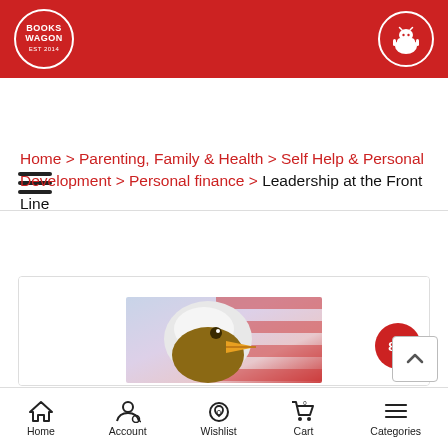Books Wagon | Android app icon
[Figure (screenshot): Hamburger menu icon (three horizontal lines)]
Home > Parenting, Family & Health > Self Help & Personal Development > Personal finance > Leadership at the Front Line
[Figure (photo): Book cover image: bald eagle head in front of an American flag, with 8% discount badge]
Home | Account | Wishlist | Cart | Categories